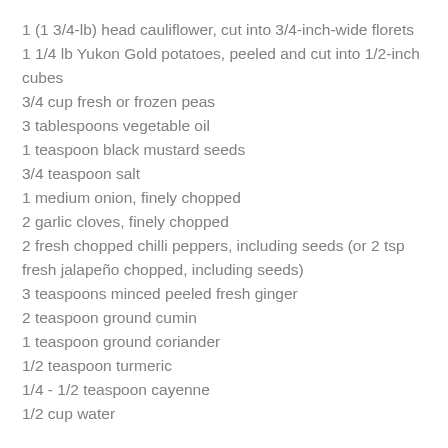1 (1 3/4-lb) head cauliflower, cut into 3/4-inch-wide florets
1 1/4 lb Yukon Gold potatoes, peeled and cut into 1/2-inch cubes
3/4 cup fresh or frozen peas
3 tablespoons vegetable oil
1 teaspoon black mustard seeds
3/4 teaspoon salt
1 medium onion, finely chopped
2 garlic cloves, finely chopped
2 fresh chopped chilli peppers, including seeds (or 2 tsp fresh jalapeño chopped, including seeds)
3 teaspoons minced peeled fresh ginger
2 teaspoon ground cumin
1 teaspoon ground coriander
1/2 teaspoon turmeric
1/4 - 1/2 teaspoon cayenne
1/2 cup water
Put oven rack in upper third of oven and place a shallow baking pan on rack. Preheat oven to 475°F.